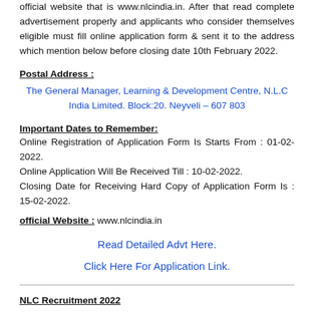official website that is www.nlcindia.in. After that read complete advertisement properly and applicants who consider themselves eligible must fill online application form & sent it to the address which mention below before closing date 10th February 2022.
Postal Address :
The General Manager, Learning & Development Centre, N.L.C India Limited. Block:20. Neyveli – 607 803
Important Dates to Remember:
Online Registration of Application Form Is Starts From : 01-02-2022.
Online Application Will Be Received Till : 10-02-2022.
Closing Date for Receiving Hard Copy of Application Form Is : 15-02-2022.
official Website : www.nlcindia.in
Read Detailed Advt Here.
Click Here For Application Link.
NLC Recruitment 2022